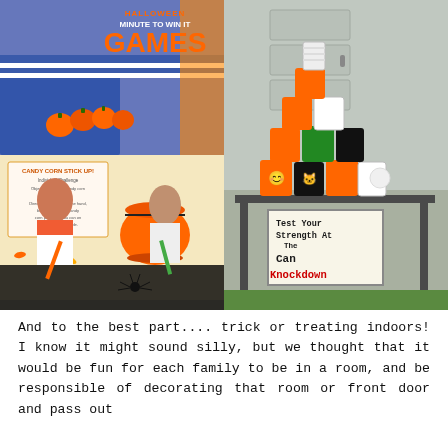[Figure (photo): Collage of Halloween Minute to Win It games: top-left shows pumpkin candy corn on a string game with title overlay, middle-left shows a candy corn stick up challenge card with orange bucket, bottom-left shows two children blowing with straws at a spider on a table; right side shows decorated Halloween cans stacked on a table for a can knockdown game with a sign reading 'Test Your Strength at the Can Knockdown']
And to the best part.... trick or treating indoors! I know it might sound silly, but we thought that it would be fun for each family to be in a room, and be responsible of decorating that room or front door and pass out